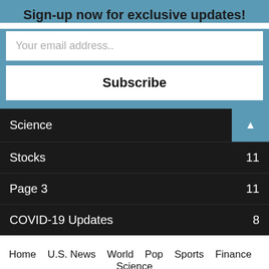Sign-up now for exclusive updates!
Your email address..
Subscribe
Science ▲
Stocks 11
Page 3 11
COVID-19 Updates 8
Home  U.S. News  World  Pop  Sports  Finance  Science  History  About Us  © Copyright 2020 Today's Five